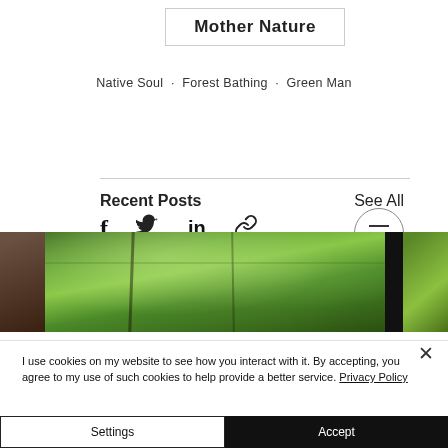Mother Nature
Native Soul · Forest Bathing · Green Man
[Figure (screenshot): Social sharing icons row: Facebook (f), Twitter (bird), LinkedIn (in), link/chain icon, and a hamburger menu button in a circle]
[Figure (photo): Strip of nature/forest photos showing trees with green canopy and sunlight filtering through leaves]
Recent Posts
See All
I use cookies on my website to see how you interact with it. By accepting, you agree to my use of such cookies to help provide a better service. Privacy Policy
Settings
Accept